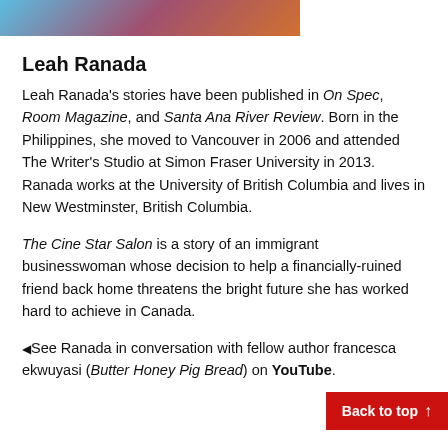[Figure (photo): Partial colorful image strip at top of page showing blue, pink and orange tones]
Leah Ranada
Leah Ranada's stories have been published in On Spec, Room Magazine, and Santa Ana River Review. Born in the Philippines, she moved to Vancouver in 2006 and attended The Writer's Studio at Simon Fraser University in 2013. Ranada works at the University of British Columbia and lives in New Westminster, British Columbia.
The Cine Star Salon is a story of an immigrant businesswoman whose decision to help a financially-ruined friend back home threatens the bright future she has worked hard to achieve in Canada.
▲ See Ranada in conversation with fellow author francesca ekwuyasi (Butter Honey Pig Bread) on YouTube.